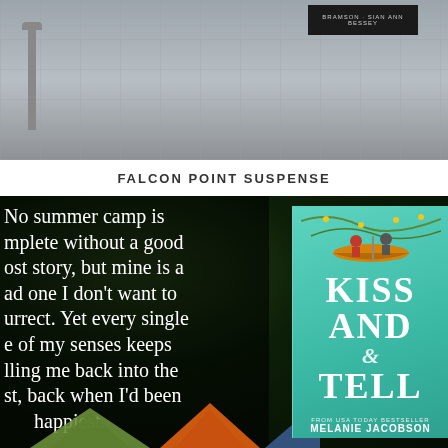[Figure (photo): Aerial view of a plaza/sidewalk with stone pavement, a lamp post, and a dark book spine visible at the top right with text 'BRAMSON · SIAN ANN BESSEY']
FALCON POINT SUSPENSE
[Figure (photo): Dark forest background with white text quote overlay and a book cover for 'Kiss and Tell' by Melanie Jacobson. The quote reads: 'No summer camp is complete without a good ghost story, but mine is a bad one I don't want to resurrect. Yet every single one of my senses keeps pulling me back into the past, back when I'd been happiest.' The book cover shows two people in a canoe, with 'KISS AND TELL' in large white letters and 'FROM USA TODAY BESTSELLER MELANIE JACOBSON' at the bottom. Tents are visible at the bottom.]